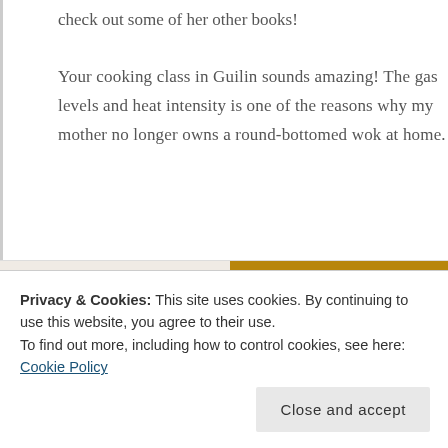check out some of her other books!
Your cooking class in Guilin sounds amazing! The gas levels and heat intensity is one of the reasons why my mother no longer owns a round-bottomed wok at home.
[Figure (screenshot): A website banner with a 'Let's get started' button on the left and a photo of hands on the right]
Privacy & Cookies: This site uses cookies. By continuing to use this website, you agree to their use.
To find out more, including how to control cookies, see here: Cookie Policy
Close and accept